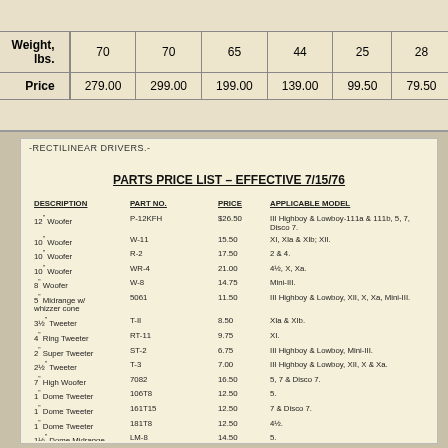|  | col1 | col2 | col3 | col4 | col5 | col6 |
| --- | --- | --- | --- | --- | --- | --- |
| Weight, lbs. | 70 | 70 | 65 | 44 | 25 | 28 |
| Price | 279.00 | 299.00 | 199.00 | 139.00 | 99.50 | 79.50 |
RECTILINEAR DRIVERS.-
PARTS PRICE LIST – EFFECTIVE 7/15/76
| DESCRIPTION | PART NO. | PRICE | APPLICABLE MODEL |
| --- | --- | --- | --- |
| 12" Woofer | P-12KFH | $26.50 | III Highboy & Lowboy-111a & 111b, 5, 7, Disco 7. |
| 10" Woofer | W-11 | 15.50 | XI, XIa & XIb; XII. |
| 10" Woofer | R-2 | 17.50 | 2 & 4. |
| 10" Woofer | WR-4 | 21.00 | 4½, X, Xa. |
| 8" Woofer | W-8 | 14.75 | Mini-III. |
| 5" Midrange w/ whizzer cone | 5061 | 11.50 | III Highboy & Lowboy, XII, X, Xa, Mini-III. |
| 3½" Tweeter | T-II | 8.50 | XIa & XIb. |
| 4" Ring Tweeter | RT-11 | 9.75 | XI. |
| 2" Super Tweeter | ST-2 | 6.75 | III Highboy & Lowboy, Mini-III. |
| 2½" Tweeter | T-3 | 7.00 | III Highboy & Lowboy, XII, X & Xa. |
| 7" High Woofer | 7082 | 16.50 | 5, 7 & Disco 7. |
| 1" Dome Tweeter | 106T8 | 12.50 | 5. |
| 1" Dome Tweeter | 161T15 | 12.50 | 7 & Disco 7. |
| 1" Dome Tweeter | 181T8 | 12.50 | 4½. |
| 1½" Dome Midrange | LM-8 | 14.50 | 5. |
| 1½" Dome Midrange | LM-15 | 14.50 | 7 & Disco 7. |
| 2" Dome Midrange | SO-8 | 19.50 | 4½. |
| 1¼" Dome Midrange | FM-1 | 19.50 | 4. |